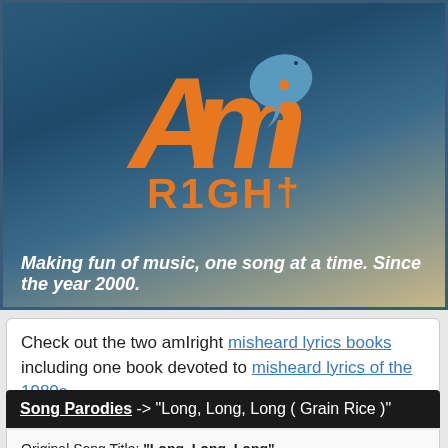[Figure (logo): AmIright logo with orange stylized letters 'AMI' and blue bird/quill graphic, with 'RIGHT' in orange below, on a blue-grey gradient background]
Making fun of music, one song at a time. Since the year 2000.
Check out the two amIright misheard lyrics books including one book devoted to misheard lyrics of the 1980s.
Song Parodies -> "Long, Long, Long ( Grain Rice )"
Original Song Title: "Long, Long, Long"
Original Performer: The Beatles